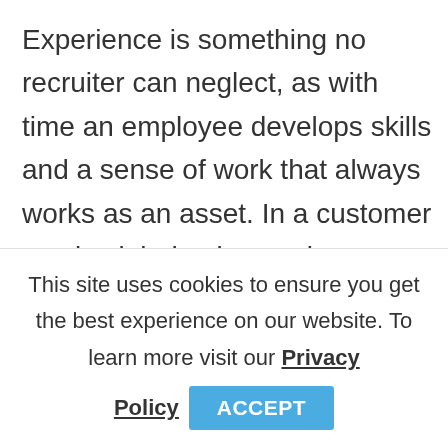Experience is something no recruiter can neglect, as with time an employee develops skills and a sense of work that always works as an asset. In a customer service job, having work experience gives them a fair advantage as the job entails polite behavior, long phone calls, handling impatient clients, etc. And an experienced candidate already knows how to…
This site uses cookies to ensure you get the best experience on our website. To learn more visit our Privacy Policy